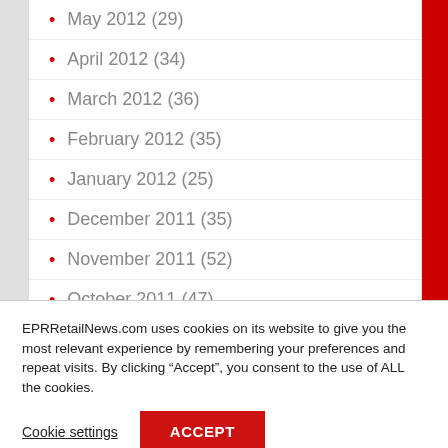May 2012 (29)
April 2012 (34)
March 2012 (36)
February 2012 (35)
January 2012 (25)
December 2011 (35)
November 2011 (52)
October 2011 (47)
EPRRetailNews.com uses cookies on its website to give you the most relevant experience by remembering your preferences and repeat visits. By clicking “Accept”, you consent to the use of ALL the cookies.
Cookie settings
ACCEPT